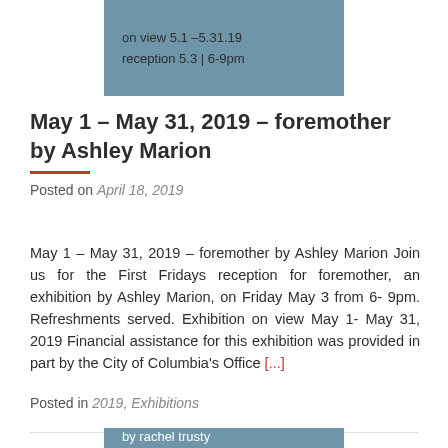[Figure (other): Teal/blue-grey banner image with text 'on view 5.1 –5.31.19' and 'reception 5.3 | 6-9pm']
May 1 – May 31, 2019 – foremother by Ashley Marion
Posted on April 18, 2019
May 1 – May 31, 2019 – foremother by Ashley Marion Join us for the First Fridays reception for foremother, an exhibition by Ashley Marion, on Friday May 3 from 6-9pm. Refreshments served. Exhibition on view May 1-May 31, 2019 Financial assistance for this exhibition was provided in part by the City of Columbia's Office [...]
Posted in 2019, Exhibitions
[Figure (other): Teal/blue-grey banner image with text 'an exhibition of works by rachel trusty']